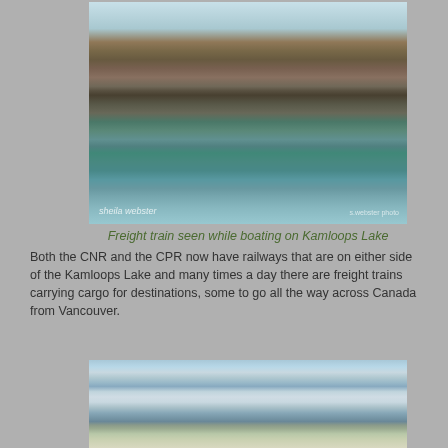[Figure (photo): Freight train seen while boating on Kamloops Lake — rocky hillside with train cars visible along shoreline, blue lake water in foreground. Photo credits: sheila webster / s.webster photo]
Freight train seen while boating on Kamloops Lake
Both the CNR and the CPR now have railways that are on either side of the Kamloops Lake and many times a day there are freight trains carrying cargo for destinations, some to go all the way across Canada from Vancouver.
[Figure (photo): Kamloops Lake scenic view showing calm water with mountain reflections and hills in background]